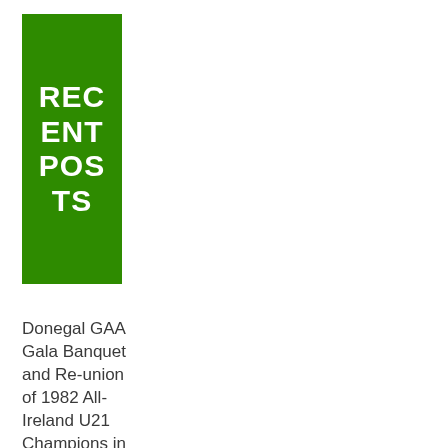RECENT POSTS
Donegal GAA Gala Banquet and Re-union of 1982 All-Ireland U21 Champions in